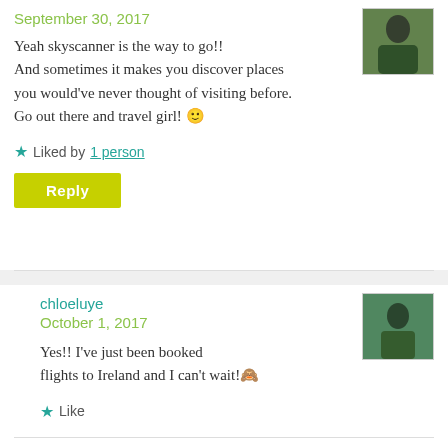September 30, 2017
Yeah skyscanner is the way to go!! And sometimes it makes you discover places you would've never thought of visiting before. Go out there and travel girl! 🙂
★ Liked by 1 person
Reply
chloeluye
October 1, 2017
Yes!! I've just been booked flights to Ireland and I can't wait!🙈
★ Like